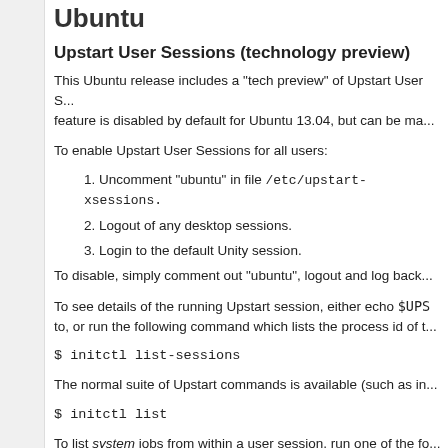Ubuntu
Upstart User Sessions (technology preview)
This Ubuntu release includes a "tech preview" of Upstart User Sessions. This feature is disabled by default for Ubuntu 13.04, but can be ma...
To enable Upstart User Sessions for all users:
1. Uncomment "ubuntu" in file /etc/upstart-xsessions.
2. Logout of any desktop sessions.
3. Login to the default Unity session.
To disable, simply comment out "ubuntu", logout and log back...
To see details of the running Upstart session, either echo $UPS... to, or run the following command which lists the process id of t...
$ initctl list-sessions
The normal suite of Upstart commands is available (such as in...
$ initctl list
To list system jobs from within a user session, run one of the fo...